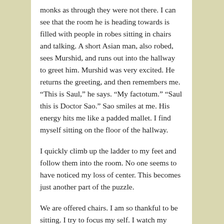monks as through they were not there. I can see that the room he is heading towards is filled with people in robes sitting in chairs and talking. A short Asian man, also robed, sees Murshid, and runs out into the hallway to greet him. Murshid was very excited. He returns the greeting, and then remembers me. “This is Saul,” he says. “My factotum.” “Saul this is Doctor Sao.” Sao smiles at me. His energy hits me like a padded mallet. I find myself sitting on the floor of the hallway.
I quickly climb up the ladder to my feet and follow them into the room. No one seems to have noticed my loss of center. This becomes just another part of the puzzle.
We are offered chairs. I am so thankful to be sitting. I try to focus my self. I watch my breath.